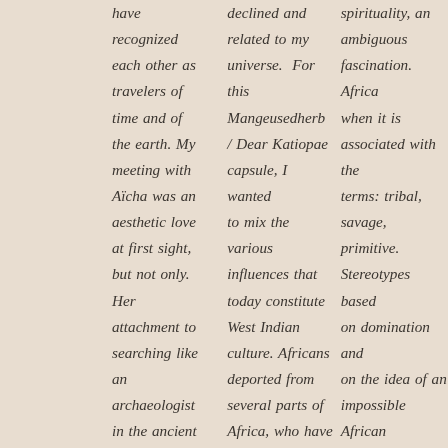have recognized each other as travelers of time and of the earth. My meeting with Aïcha was an aesthetic love at first sight, but not only. Her attachment to searching like an archaeologist in the ancient
declined and related to my universe. For this Mangeusedherb / Dear Katiopae capsule, I wanted to mix the various influences that today constitute West Indian culture. Africans deported from several parts of Africa, who have been able to
spirituality, an ambiguous fascination. Africa when it is associated with the terms: tribal, savage, primitive. Stereotypes based on domination and on the idea of an impossible African devoid of civilization such as the Kemite Egypt denied since the 1950s by Western Egyptologists who